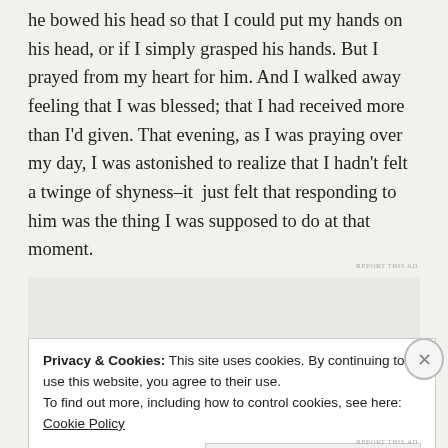he bowed his head so that I could put my hands on his head, or if I simply grasped his hands. But I prayed from my heart for him. And I walked away feeling that I was blessed; that I had received more than I'd given. That evening, as I was praying over my day, I was astonished to realize that I hadn't felt a twinge of shyness–it just felt that responding to him was the thing I was supposed to do at that moment.
REPORT THIS AD
Privacy & Cookies: This site uses cookies. By continuing to use this website, you agree to their use.
To find out more, including how to control cookies, see here: Cookie Policy
Close and accept
REPORT THIS AD